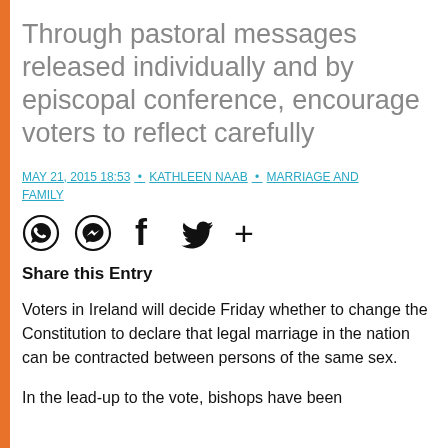Through pastoral messages released individually and by episcopal conference, encourage voters to reflect carefully
MAY 21, 2015 18:53 • KATHLEEN NAAB • MARRIAGE AND FAMILY
[Figure (infographic): Social share icons: WhatsApp, Messenger, Facebook, Twitter, and a plus/more button]
Share this Entry
Voters in Ireland will decide Friday whether to change the Constitution to declare that legal marriage in the nation can be contracted between persons of the same sex.
In the lead-up to the vote, bishops have been